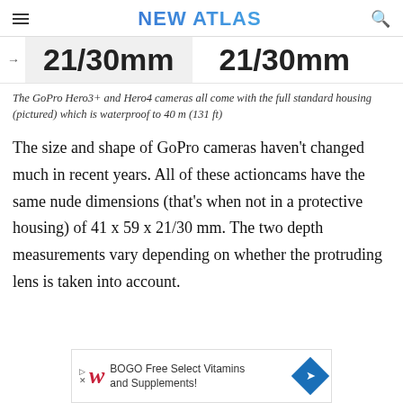NEW ATLAS
21/30mm   21/30mm
The GoPro Hero3+ and Hero4 cameras all come with the full standard housing (pictured) which is waterproof to 40 m (131 ft)
The size and shape of GoPro cameras haven't changed much in recent years. All of these actioncams have the same nude dimensions (that's when not in a protective housing) of 41 x 59 x 21/30 mm. The two depth measurements vary depending on whether the protruding lens is taken into account.
[Figure (other): Walgreens advertisement banner: BOGO Free Select Vitamins and Supplements!]